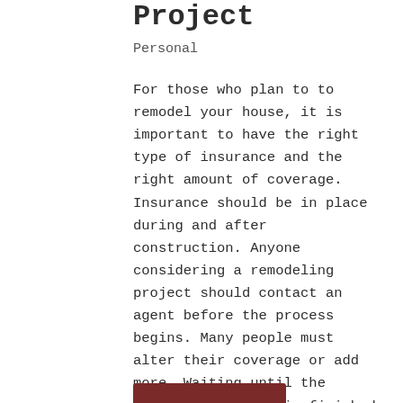Project
Personal
For those who plan to to remodel your house, it is important to have the right type of insurance and the right amount of coverage. Insurance should be in place during and after construction. Anyone considering a remodeling project should contact an agent before the process begins. Many people must alter their coverage or add more. Waiting until the project starts or is finished can be an expensive mistake, so take the following four important steps to avoid an expensive problem.